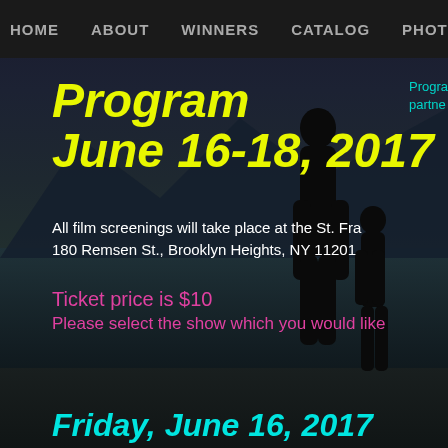HOME   ABOUT   WINNERS   CATALOG   PHOT
Program
June 16-18, 2017
Progra… partne…
All film screenings will take place at the St. Fra… 180 Remsen St., Brooklyn Heights, NY 11201
Ticket price is $10
Please select the show which you would like
Friday, June 16, 2017